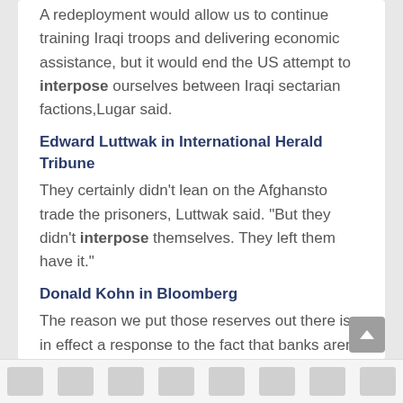A redeployment would allow us to continue training Iraqi troops and delivering economic assistance, but it would end the US attempt to interpose ourselves between Iraqi sectarian factions,Lugar said.
Edward Luttwak in International Herald Tribune
They certainly didn't lean on the Afghansto trade the prisoners, Luttwak said. "But they didn't interpose themselves. They left them have it."
Donald Kohn in Bloomberg
The reason we put those reserves out there is in effect a response to the fact that banks aren't lending to each other and they are not lending to the private sector,Kohn said today. "We have had to interpose our balance sheet to where...